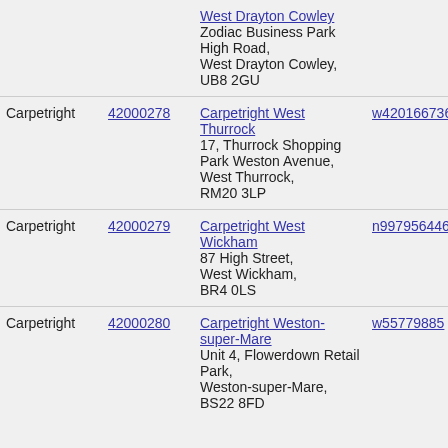| Brand | ID | Store / Address | OSM ID | Brand2 | ... |
| --- | --- | --- | --- | --- | --- |
|  |  | West Drayton Cowley
Zodiac Business Park High Road, West Drayton Cowley, UB8 2GU |  |  |  |
| Carpetright | 42000278 | Carpetright West Thurrock
17, Thurrock Shopping Park Weston Avenue, West Thurrock, RM20 3LP | w420166736 | Carpetright | ca... |
| Carpetright | 42000279 | Carpetright West Wickham
87 High Street, West Wickham, BR4 0LS | n9979564462 | Carpetright | ca... |
| Carpetright | 42000280 | Carpetright Weston-super-Mare
Unit 4, Flowerdown Retail Park, Weston-super-Mare, BS22 8FD | w55779885 | Carpetright | ca... |